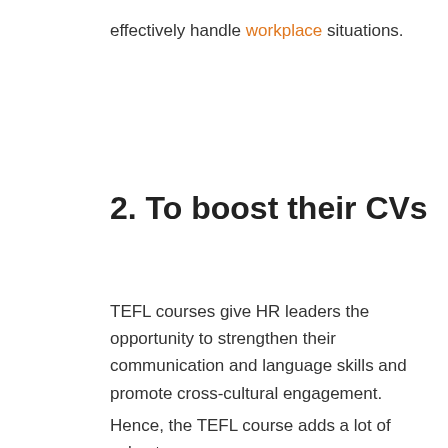effectively handle workplace situations.
2. To boost their CVs
TEFL courses give HR leaders the opportunity to strengthen their communication and language skills and promote cross-cultural engagement.
Hence, the TEFL course adds a lot of value to